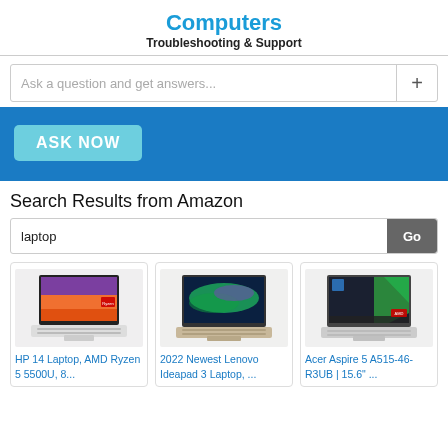Computers
Troubleshooting & Support
Ask a question and get answers...
[Figure (screenshot): Blue banner with ASK NOW button]
Search Results from Amazon
laptop
[Figure (screenshot): HP 14 Laptop, AMD Ryzen 5 5500U, 8... product image]
HP 14 Laptop, AMD Ryzen 5 5500U, 8...
[Figure (screenshot): 2022 Newest Lenovo Ideapad 3 Laptop, ... product image]
2022 Newest Lenovo Ideapad 3 Laptop, ...
[Figure (screenshot): Acer Aspire 5 A515-46-R3UB | 15.6" ... product image]
Acer Aspire 5 A515-46-R3UB | 15.6" ...